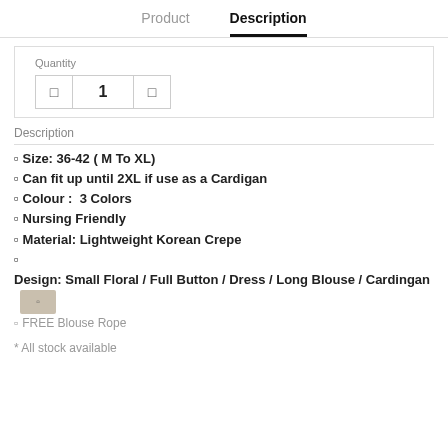Product   Description
Quantity
1
Description
Size: 36-42 ( M To XL)
Can fit up until 2XL if use as a Cardigan
Colour :  3 Colors
Nursing Friendly
Material: Lightweight Korean Crepe
Design: Small Floral / Full Button / Dress / Long Blouse / Cardingan
FREE Blouse Rope
* All stock available